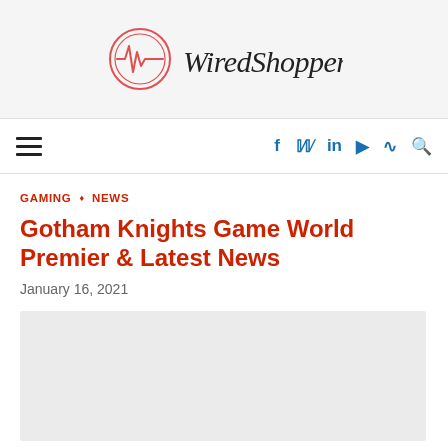[Figure (logo): WiredShopper logo with a red circle containing a heartbeat/waveform icon and cursive WiredShopper text]
≡   f  in  ▶  ⌂  🔍
GAMING  ◇  NEWS
Gotham Knights Game World Premier & Latest News
January 16, 2021
[Figure (photo): Article image placeholder (light grey rectangle)]